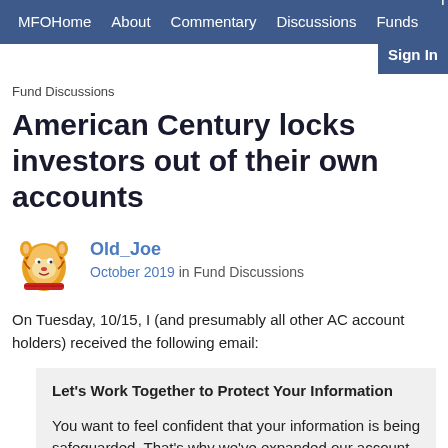MFOHome  About  Commentary  Discussions  Funds  The-Be  Sign In
Fund Discussions
American Century locks investors out of their own accounts
Old_Joe
October 2019 in Fund Discussions
On Tuesday, 10/15, I (and presumably all other AC account holders) received the following email:
Let's Work Together to Protect Your Information

You want to feel confident that your information is being safeguarded. That's why we've expanded our account security measures—and we need your help.

It's simple: Just log in by December 31 to activate the additional measures. You'll need to update your password and enroll in additional security options.